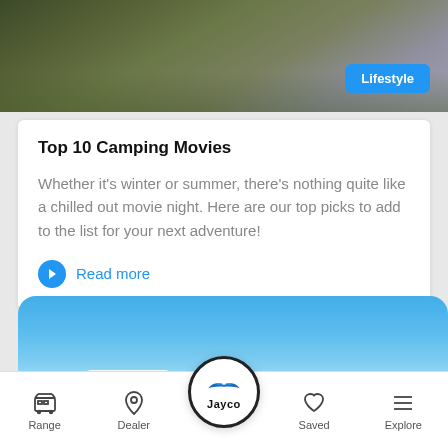[Figure (photo): Outdoor grass/nature scene with people, top portion of a mobile app article card]
Lifestyle
Top 10 Camping Movies
Whether it's winter or summer, there's nothing quite like a chilled out movie night. Here are our top picks to add to the list for your next adventure!
Read more
[Figure (photo): Blue sky with white clouds, bottom portion showing the start of a second article card]
[Figure (logo): Jayco logo in circular navigation button with bird/wing icon above text Jayco]
Range
Dealer
Saved
Explore